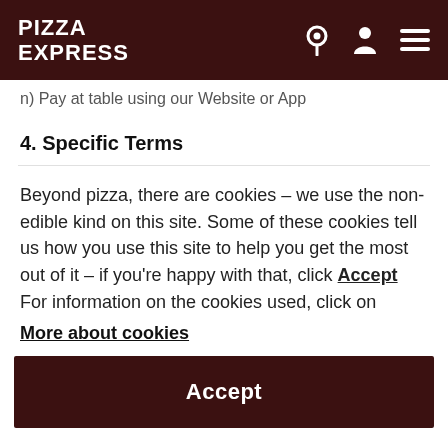PIZZA EXPRESS
n) Pay at table using our Website or App
4. Specific Terms
Beyond pizza, there are cookies – we use the non-edible kind on this site. Some of these cookies tell us how you use this site to help you get the most out of it – if you're happy with that, click Accept For information on the cookies used, click on More about cookies
Accept